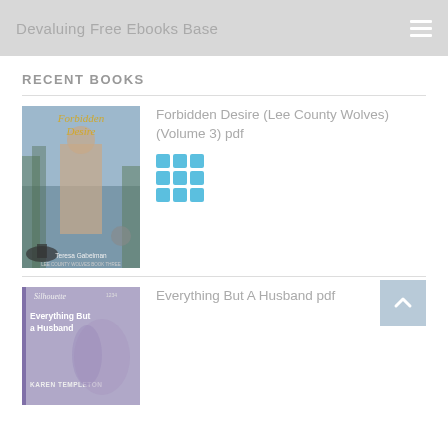Devaluing Free Ebooks Base
RECENT BOOKS
Forbidden Desire (Lee County Wolves) (Volume 3) pdf
[Figure (illustration): Book cover for Forbidden Desire by Teresa Gabelman, showing a shirtless man in a forest setting with cursive gold title text]
Everything But A Husband pdf
[Figure (illustration): Book cover for Everything But A Husband by Karen Templeton, a Silhouette romance novel]